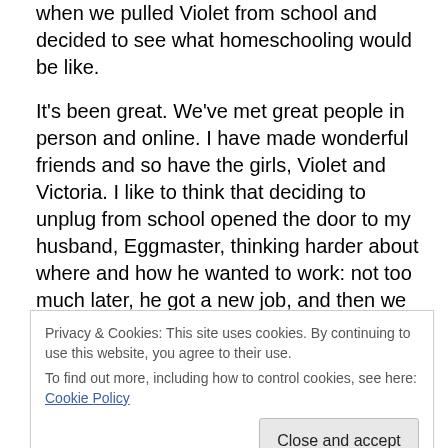when we pulled Violet from school and decided to see what homeschooling would be like.
It's been great. We've met great people in person and online. I have made wonderful friends and so have the girls, Violet and Victoria. I like to think that deciding to unplug from school opened the door to my husband, Eggmaster, thinking harder about where and how he wanted to work: not too much later, he got a new job, and then we moved to a neighborhood he loves.
But regrets, I've had a few. Not just parenting regrets —
Privacy & Cookies: This site uses cookies. By continuing to use this website, you agree to their use.
To find out more, including how to control cookies, see here: Cookie Policy
To commemorate five years of homeschooling, here are